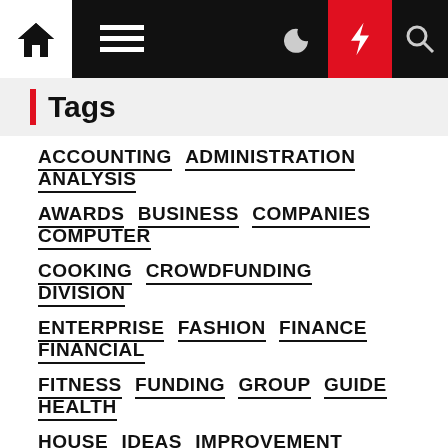Navigation bar with home, menu, moon, bolt, search icons
Tags
ACCOUNTING
ADMINISTRATION
ANALYSIS
AWARDS
BUSINESS
COMPANIES
COMPUTER
COOKING
CROWDFUNDING
DIVISION
ENTERPRISE
FASHION
FINANCE
FINANCIAL
FITNESS
FUNDING
GROUP
GUIDE
HEALTH
HOUSE
IDEAS
IMPROVEMENT
INFORMATION
INSTITUTE
INSURANCE
INTERNATIONAL
INTERNET
JOURNAL
LEGISLATION
LEISURE
LONDON
MANAGEMENT
MONETARY
NEWEST
PROGRAM
RESEARCH
SITES
SMALL
SOCIETY
TECHNOLOGY
TRAVEL
WEBSITES
WHATS